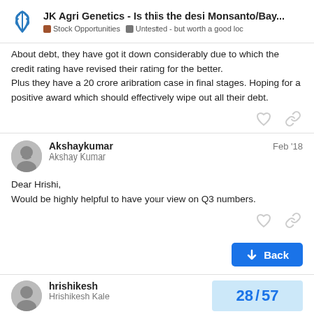JK Agri Genetics - Is this the desi Monsanto/Bay... | Stock Opportunities | Untested - but worth a good loc
About debt, they have got it down considerably due to which the credit rating have revised their rating for the better.
Plus they have a 20 crore aribration case in final stages. Hoping for a positive award which should effectively wipe out all their debt.
Akshaykumar — Feb '18
Akshay Kumar

Dear Hrishi,
Would be highly helpful to have your view on Q3 numbers.
hrishikesh
Hrishikesh Kale